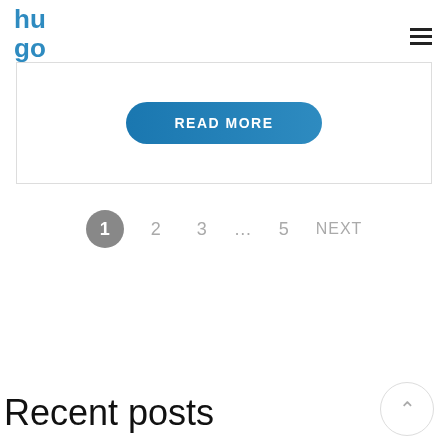hugo
[Figure (screenshot): READ MORE button — a pill-shaped blue gradient button with white bold uppercase text 'READ MORE', inside a white card with border]
1  2  3  …  5  NEXT
Recent posts